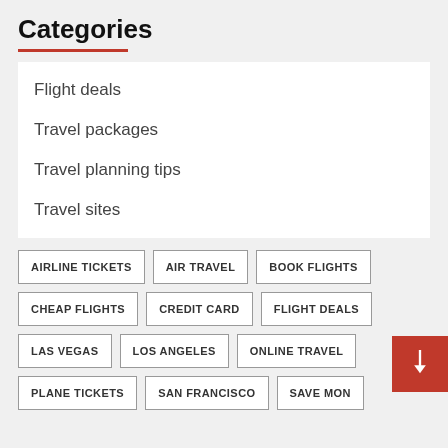Categories
Flight deals
Travel packages
Travel planning tips
Travel sites
AIRLINE TICKETS
AIR TRAVEL
BOOK FLIGHTS
CHEAP FLIGHTS
CREDIT CARD
FLIGHT DEALS
LAS VEGAS
LOS ANGELES
ONLINE TRAVEL
PLANE TICKETS
SAN FRANCISCO
SAVE MON